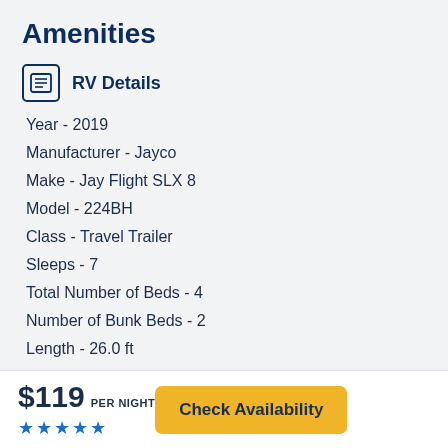Amenities
RV Details
Year - 2019
Manufacturer - Jayco
Make - Jay Flight SLX 8
Model - 224BH
Class - Travel Trailer
Sleeps - 7
Total Number of Beds - 4
Number of Bunk Beds - 2
Length - 26.0 ft
$119 PER NIGHT ★★★★★
Check Availability